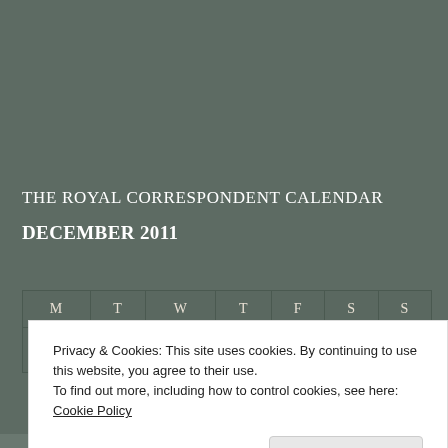THE ROYAL CORRESPONDENT CALENDAR
DECEMBER 2011
| M | T | W | T | F | S | S |
| --- | --- | --- | --- | --- | --- | --- |
|  |  |  | 1 | 2 | 3 | 4 |
Privacy & Cookies: This site uses cookies. By continuing to use this website, you agree to their use.
To find out more, including how to control cookies, see here: Cookie Policy
Close and accept